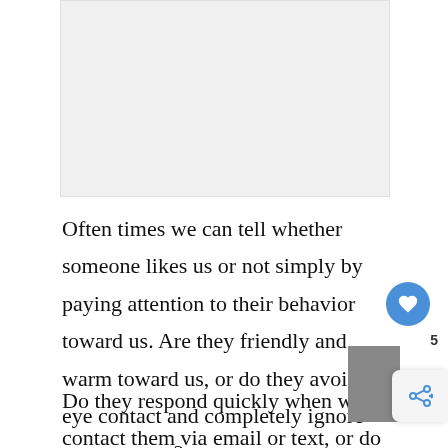[Figure (other): Light gray rectangular image placeholder at top of page]
Often times we can tell whether someone likes us or not simply by paying attention to their behavior toward us. Are they friendly and warm toward us, or do they avoid eye contact and completely ignore our presence?
Do they respond quickly when we contact them via email or text, or do they take